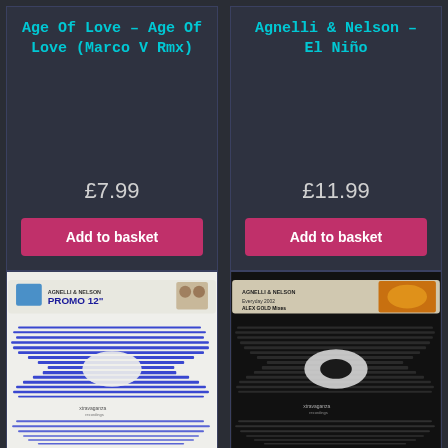Age Of Love – Age Of Love (Marco V Rmx)
£7.99
Add to basket
Agnelli & Nelson – El Niño
£11.99
Add to basket
[Figure (photo): Album cover for Agnelli & Nelson Promo 12-inch, white sleeve with blue abstract eye waveform design and Xtravaganza Records label sticker at top]
[Figure (photo): Album cover for Agnelli & Nelson Everyday 2002 Alex Gold Mixes, dark sleeve with black abstract eye waveform design and Xtravaganza Records label sticker at top with orange/yellow colour]